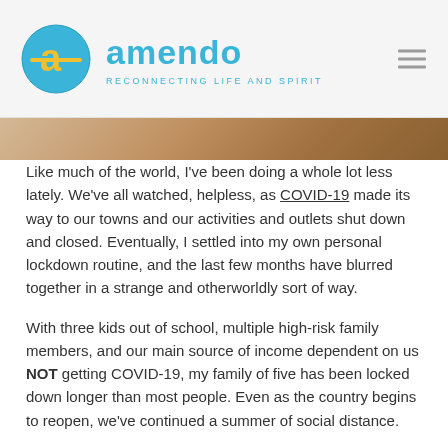[Figure (logo): Amendo logo with teal circle containing yellow 'a' icon, blue 'amendo' wordmark, and tagline 'RECONNECTING LIFE AND SPIRIT']
[Figure (photo): Partial view of a photo, appears to show wooden surface or furniture in warm brown tones]
Like much of the world, I've been doing a whole lot less lately. We've all watched, helpless, as COVID-19 made its way to our towns and our activities and outlets shut down and closed. Eventually, I settled into my own personal lockdown routine, and the last few months have blurred together in a strange and otherworldly sort of way.
With three kids out of school, multiple high-risk family members, and our main source of income dependent on us NOT getting COVID-19, my family of five has been locked down longer than most people. Even as the country begins to reopen, we've continued a summer of social distance.
I'm an extroverted, community-oriented, highly active and involved person, so this has been, at times, excruciating. I like to stay busy enough that I don't have to consider my feelings or grapple with the bigger issues in life. Sure, I enjoy deep